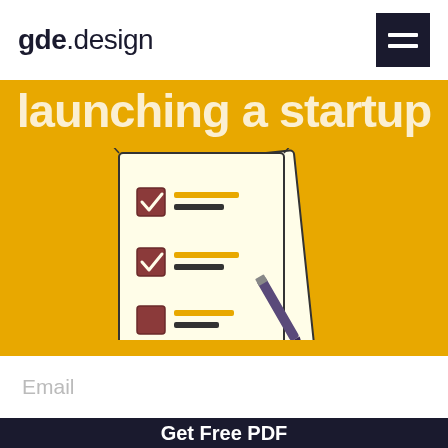gde.design
launching a startup
[Figure (illustration): Illustration of a checklist document with checkboxes (two checked, one unchecked) and lines of text, with a pen resting on it, on a golden yellow background]
Email
Get Free PDF